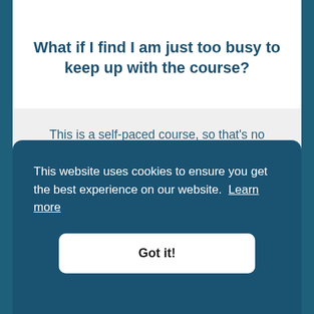What if I find I am just too busy to keep up with the course?
This is a self-paced course, so that's no problem. Each module, we have a different focus, and the topics build on each other. If you miss a session, you can access all the course recordings and other materials on your own account page in the Course. This is the beauty of this format, especially for busy...
This website uses cookies to ensure you get the best experience on our website. Learn more
Got it!
registered for the course and do not